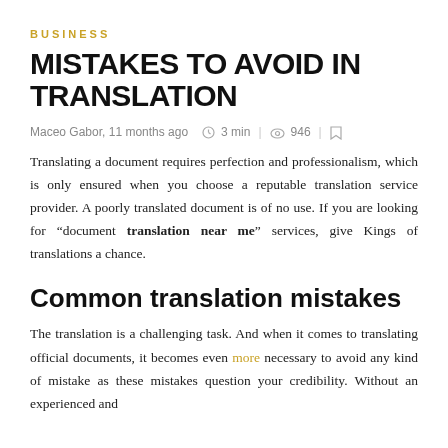BUSINESS
MISTAKES TO AVOID IN TRANSLATION
Maceo Gabor, 11 months ago   3 min  |   946  |
Translating a document requires perfection and professionalism, which is only ensured when you choose a reputable translation service provider. A poorly translated document is of no use. If you are looking for “document translation near me” services, give Kings of translations a chance.
Common translation mistakes
The translation is a challenging task. And when it comes to translating official documents, it becomes even more necessary to avoid any kind of mistake as these mistakes question your credibility. Without an experienced and